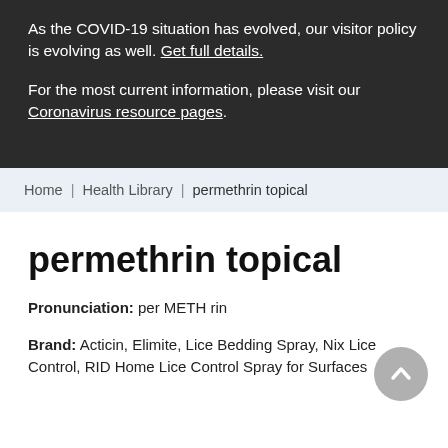As the COVID-19 situation has evolved, our visitor policy is evolving as well. Get full details.
For the most current information, please visit our Coronavirus resource pages.
Home   Health Library   permethrin topical
permethrin topical
Pronunciation: per METH rin
Brand: Acticin, Elimite, Lice Bedding Spray, Nix Lice Control, RID Home Lice Control Spray for Surfaces